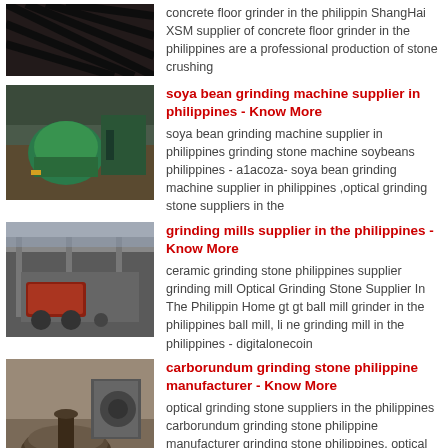[Figure (photo): Close-up of industrial grinding/crusher machine with dark metallic components]
concrete floor grinder in the philippin ShangHai XSM supplier of concrete floor grinder in the philippines are a professional production of stone crushing
[Figure (photo): Green industrial grinding machine in a factory setting]
soya bean grinding machine supplier in philippines - Know More
soya bean grinding machine supplier in philippines grinding stone machine soybeans philippines - a1acoza- soya bean grinding machine supplier in philippines ,optical grinding stone suppliers in the
[Figure (photo): Large industrial grinding mill machines outdoors at a factory]
grinding mills supplier in the philippines - Know More
ceramic grinding stone philippines supplier grinding mill Optical Grinding Stone Supplier In The Philippin Home gt gt ball mill grinder in the philippines ball mill, li ne grinding mill in the philippines - digitalonecoin
[Figure (photo): Carborundum grinding stone machinery parts in a workshop]
carborundum grinding stone philippine manufacturer - Know More
optical grinding stone suppliers in the philippines carborundum grinding stone philippine manufacturer grinding stone philippines, optical grinding stone